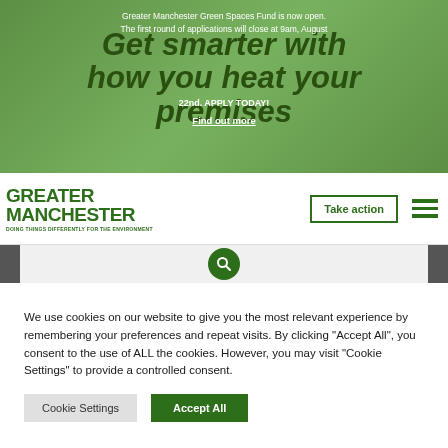[Figure (screenshot): Green hero banner with overlay text: 'Get smarter with how you heat your premises' in dark green italic bold, with notification text about Greater Manchester Green Spaces Fund and Apply Today / Find out more links in white]
[Figure (logo): Greater Manchester logo with green text and tagline: DOING THINGS DIFFERENTLY FOR THE ENVIRONMENT]
Take action
[Figure (infographic): Search bar strip with magnifying glass icon in green circle, flanked by grey bars]
We use cookies on our website to give you the most relevant experience by remembering your preferences and repeat visits. By clicking "Accept All", you consent to the use of ALL the cookies. However, you may visit "Cookie Settings" to provide a controlled consent.
Cookie Settings
Accept All